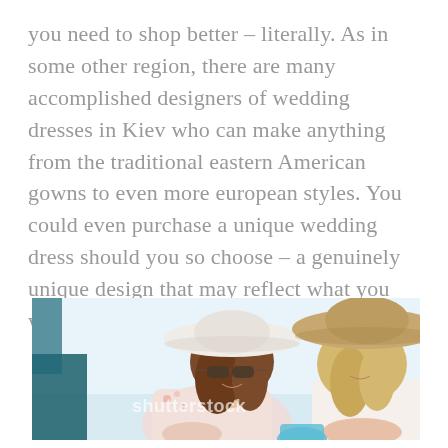you need to shop better – literally. As in some other region, there are many accomplished designers of wedding dresses in Kiev who can make anything from the traditional eastern American gowns to even more european styles. You could even purchase a unique wedding dress should you so choose – a genuinely unique design that may reflect what you want for your special day.
[Figure (photo): Two women wearing wide-brim hats sitting together outdoors, smiling and looking at something. One has sunglasses and a floral top, the other is blonde. A Shutterstock watermark is visible on the image.]